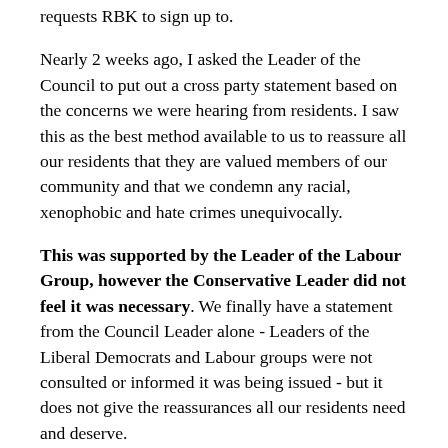requests RBK to sign up to.
Nearly 2 weeks ago, I asked the Leader of the Council to put out a cross party statement based on the concerns we were hearing from residents. I saw this as the best method available to us to reassure all our residents that they are valued members of our community and that we condemn any racial, xenophobic and hate crimes unequivocally.
This was supported by the Leader of the Labour Group, however the Conservative Leader did not feel it was necessary. We finally have a statement from the Council Leader alone - Leaders of the Liberal Democrats and Labour groups were not consulted or informed it was being issued - but it does not give the reassurances all our residents need and deserve.
With regard to the situation now the UK has voted to leave the EU, again the Leader does not go far